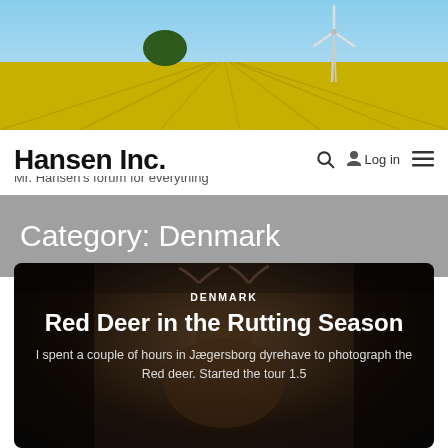[Figure (photo): Yellow rapeseed field under blue sky with a wind turbine visible on the right side, serving as the website banner image]
Hansen Inc.
Mr. Hansen's forum for everything
Category: Denmark
[Figure (photo): Dark atmospheric photo of a red deer stag with antlers in a forest, overlaid with text about Denmark and the article title]
Red Deer in the Rutting Season
I spent a couple of hours in Jægersborg dyrehave to photograph the Red deer. Started the tour 1.5